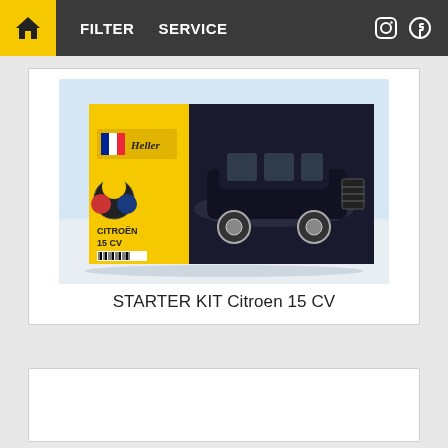FILTER   SERVICE
[Figure (photo): Heller model kit box for STARTER KIT Citroen 15 CV — yellow box with black classic car image on front, Heller branding, French flags]
STARTER KIT Citroen 15 CV